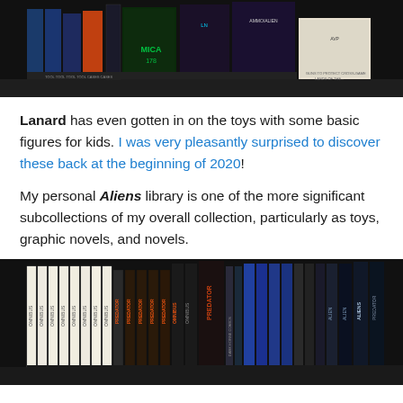[Figure (photo): Photo of a shelf with Alien/Predator themed boxes, games, and collectibles on a dark shelf background.]
Lanard has even gotten in on the toys with some basic figures for kids. I was very pleasantly surprised to discover these back at the beginning of 2020!
My personal Aliens library is one of the more significant subcollections of my overall collection, particularly as toys, graphic novels, and novels.
[Figure (photo): Photo of a bookshelf filled with Predator and Aliens graphic novels, omnibus collections, and related books with white spines on the left and darker spines on the right.]